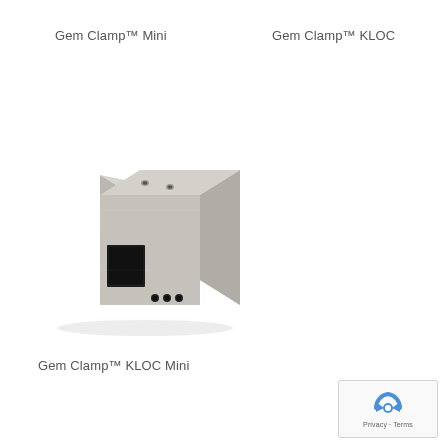Gem Clamp™ Mini
Gem Clamp™ KLOC
[Figure (photo): A small rectangular stainless steel block clamp (Gem Clamp™ KLOC Mini) with a square cutout on the front face and three small holes on the bottom, viewed from a three-quarter angle. The top surface has two small screw holes.]
Gem Clamp™ KLOC Mini